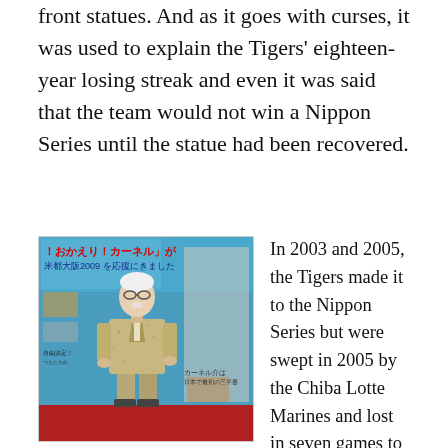front statues. And as it goes with curses, it was used to explain the Tigers' eighteen-year losing streak and even it was said that the team would not win a Nippon Series until the statue had been recovered.
[Figure (photo): Photo of a salvaged statue (Colonel Sanders figure) on display indoors, with Japanese text banners and informational posters in the background. The statue appears weathered/corroded, standing in front of a blue and red backdrop.]
In 2003 and 2005, the Tigers made it to the Nippon Series but were swept in 2005 by the Chiba Lotte Marines and lost in seven games to the Fukuoka Daei Hawks in 2003. In 2009, the statue was salvaged from the Dotonbori Canal but still the Tigers haven't won a
The salvaged statue of